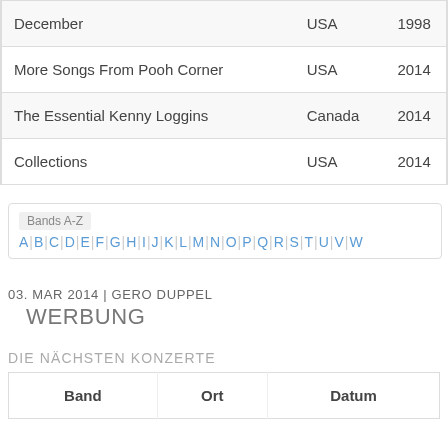|  |  |  |
| --- | --- | --- |
| December | USA | 1998 |
| More Songs From Pooh Corner | USA | 2014 |
| The Essential Kenny Loggins | Canada | 2014 |
| Collections | USA | 2014 |
Bands A-Z  A | B | C | D | E | F | G | H | I | J | K | L | M | N | O | P | Q | R | S | T | U | V | W
03. MAR 2014 | GERO DUPPEL
WERBUNG
DIE NÄCHSTEN KONZERTE
| Band | Ort | Datum |
| --- | --- | --- |